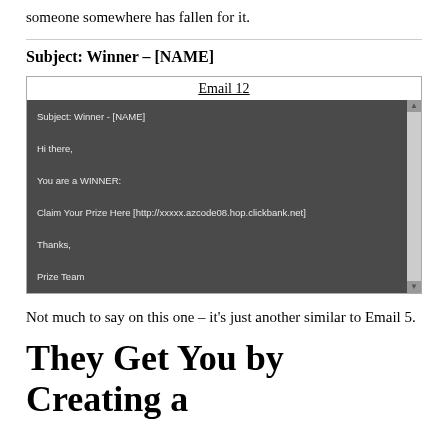someone somewhere has fallen for it.
Subject: Winner – [NAME]
[Figure (screenshot): Email 12 screenshot showing a dark-background email with subject 'Subject: Winner - [NAME]', body text: 'Hi there, You are a WINNER: Claim Your Prize Here [http://xxxxx.azcode08.hop.clickbank.net] Thanks, Prize Team']
Not much to say on this one – it's just another similar to Email 5.
They Get You by Creating a